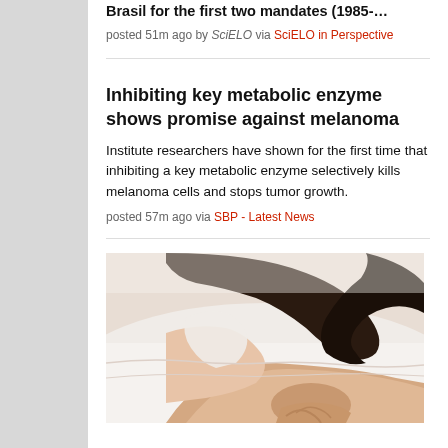Brasil for the first two mandates (1985-…
posted 51m ago by SciELO via SciELO in Perspective
Inhibiting key metabolic enzyme shows promise against melanoma
Institute researchers have shown for the first time that inhibiting a key metabolic enzyme selectively kills melanoma cells and stops tumor growth.
posted 57m ago via SBP - Latest News
[Figure (photo): Photo of a person lying in bed, arm extended on white sheets, dark hair visible, soft warm lighting]